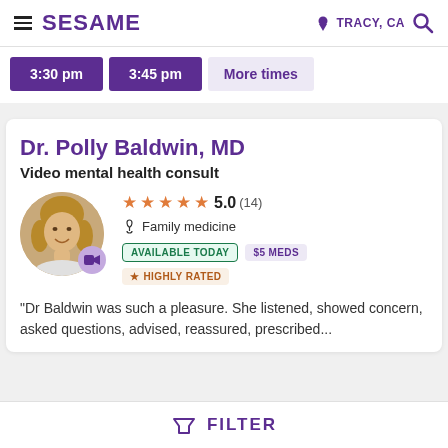SESAME | TRACY, CA
3:30 pm    3:45 pm    More times
Dr. Polly Baldwin, MD
Video mental health consult
[Figure (photo): Headshot photo of Dr. Polly Baldwin with video camera badge overlay]
★★★★★ 5.0 (14)
Family medicine
AVAILABLE TODAY   $5 MEDS   ★ HIGHLY RATED
"Dr Baldwin was such a pleasure. She listened, showed concern, asked questions, advised, reassured, prescribed...
FILTER